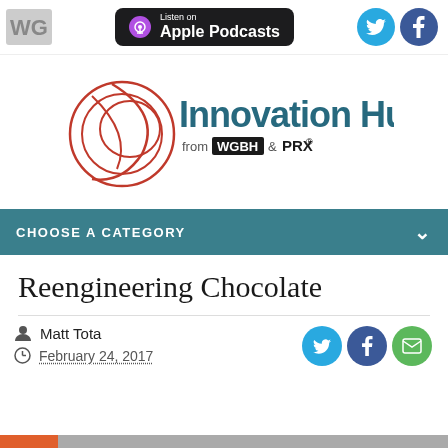[Figure (logo): WGBH logo top left, Apple Podcasts badge center, Twitter and Facebook circle icons top right]
[Figure (logo): Innovation Hub logo with red circular swoosh design and text 'Innovation Hub from WGBH & PRX']
CHOOSE A CATEGORY
Reengineering Chocolate
Matt Tota
February 24, 2017